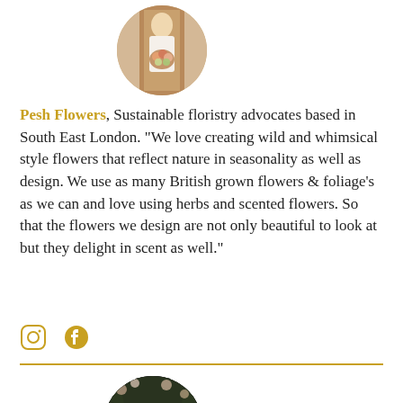[Figure (photo): Circular profile photo of a woman in a white dress holding a bouquet of flowers, standing in front of a wooden door]
Pesh Flowers, Sustainable floristry advocates based in South East London. "We love creating wild and whimsical style flowers that reflect nature in seasonality as well as design. We use as many British grown flowers & foliage's as we can and love using herbs and scented flowers. So that the flowers we design are not only beautiful to look at but they delight in scent as well."
[Figure (illustration): Instagram and Facebook social media icons in gold/amber color]
[Figure (photo): Circular profile photo of a couple, bride and groom embracing in front of a floral arch backdrop]